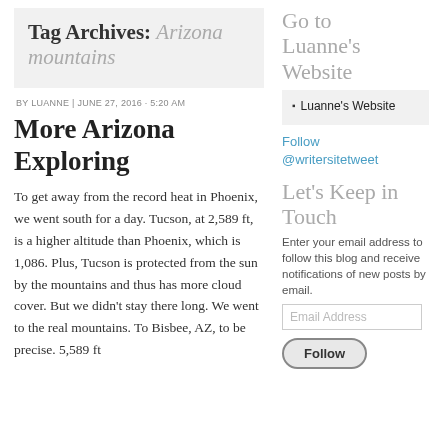Tag Archives: Arizona mountains
BY LUANNE | JUNE 27, 2016 · 5:20 AM
More Arizona Exploring
To get away from the record heat in Phoenix, we went south for a day. Tucson, at 2,589 ft,  is a higher altitude than Phoenix, which is 1,086. Plus, Tucson is protected from the sun by the mountains and thus has more cloud cover. But we didn't stay there long. We went to the real mountains. To Bisbee, AZ, to be precise. 5,589 ft
Go to Luanne's Website
Luanne's Website
Follow @writersitetweet
Let's Keep in Touch
Enter your email address to follow this blog and receive notifications of new posts by email.
Email Address
Follow